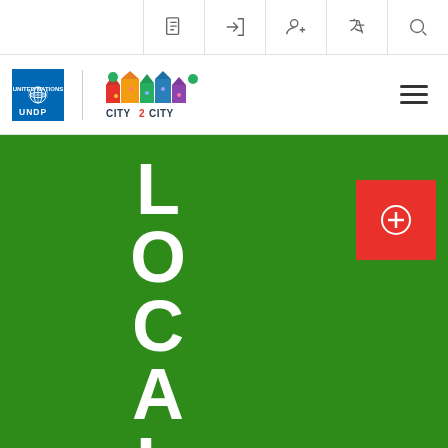Navigation utility bar with icons: document, login, user-add, translate, search
[Figure (logo): UNDP logo (blue square with UN emblem and UNDP text) beside City2City colorful logo with houses and people]
[Figure (infographic): Green background section with large white vertical letters spelling LOCALI (visible portion), with a red square button with plus/circle icon in upper right]